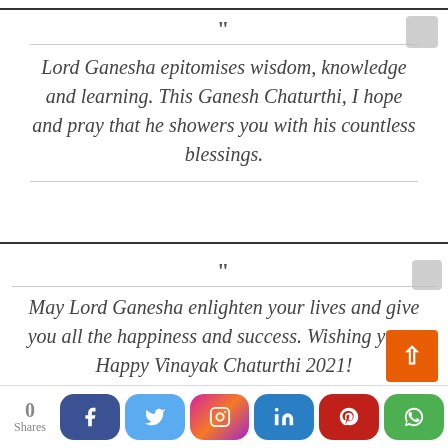Lord Ganesha epitomises wisdom, knowledge and learning. This Ganesh Chaturthi, I hope and pray that he showers you with his countless blessings.
May Lord Ganesha enlighten your lives and give you all the happiness and success. Wishing you a Happy Vinayak Chaturthi 2021!
0 Shares